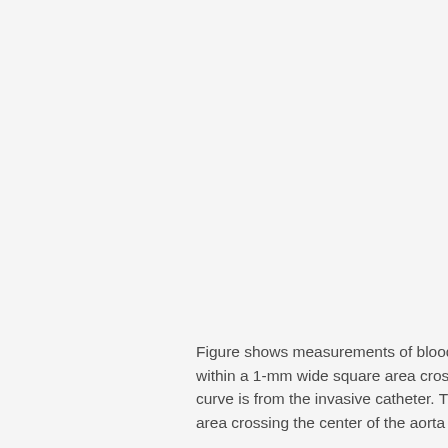Figure shows measurements of blood velocity in the rabbit aorta (a): SDC curve is the mean velocity within a 1-mm wide square area crossing the center of the aorta in the transverse view. The CAT curve is from the invasive catheter. The UIV curve is the mean velocity within a 1-mm wide square area crossing the center of the aorta in the longitudinal view (b): the volumetric flow rate